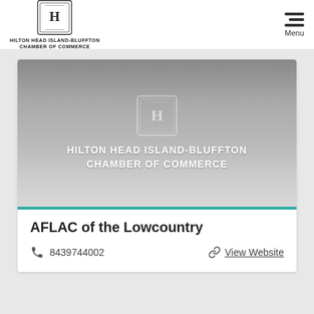HILTON HEAD ISLAND-BLUFFTON CHAMBER OF COMMERCE
[Figure (logo): Hilton Head Island-Bluffton Chamber of Commerce banner with logo emblem and text HILTON HEAD ISLAND-BLUFFTON CHAMBER OF COMMERCE on grey gradient background]
AFLAC of the Lowcountry
8439744002
View Website